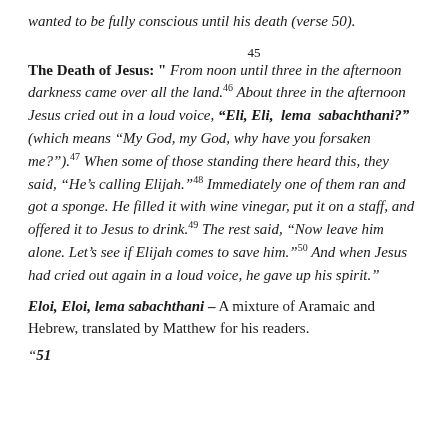wanted to be fully conscious until his death (verse 50).
The Death of Jesus: " 45 From noon until three in the afternoon darkness came over all the land. 46 About three in the afternoon Jesus cried out in a loud voice, "Eli, Eli, lema sabachthani?" (which means "My God, my God, why have you forsaken me?"). 47 When some of those standing there heard this, they said, "He's calling Elijah." 48 Immediately one of them ran and got a sponge. He filled it with wine vinegar, put it on a staff, and offered it to Jesus to drink. 49 The rest said, "Now leave him alone. Let's see if Elijah comes to save him." 50 And when Jesus had cried out again in a loud voice, he gave up his spirit."
Eloi, Eloi, lema sabachthani – A mixture of Aramaic and Hebrew, translated by Matthew for his readers.
"51